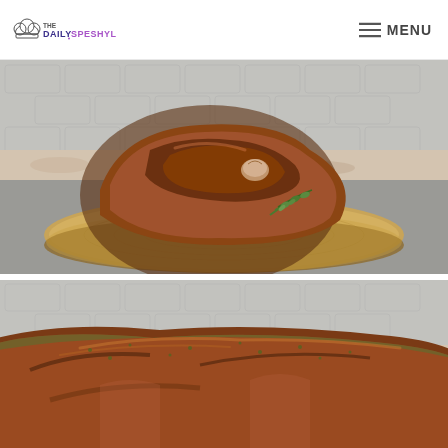THEDAILYSPESHYL | MENU
[Figure (photo): A large roasted herbed meat (possibly a leg of lamb or pork) sitting on a round wooden cutting board, garnished with fresh thyme sprigs, against a gray tile backsplash background]
[Figure (photo): Close-up of sliced roasted herbed meat showing the browned, herb-crusted exterior, against a gray tile backsplash background]